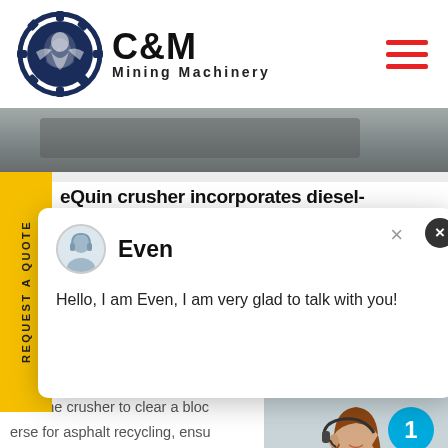[Figure (logo): C&M Mining Machinery logo with eagle gear icon in navy blue and bold black text]
[Figure (photo): Industrial machinery/factory background banner photo]
eQuin crusher incorporates diesel-
REQUEST A QUOTE (vertical side tab)
[Figure (screenshot): Live chat popup with agent Even saying: Hello, I am Even, I am very glad to talk with you!]
erse the crusher to clear a bloc
erse for asphalt recycling, ensu
und efficiency. The optional def
ed on the moving jaw, providing
by allowing uncrushable objects to
crushing chamber and onto the dis
[Figure (photo): Customer service representative with headset, with notification badge showing 1 and Click to Chat button]
Enquiry